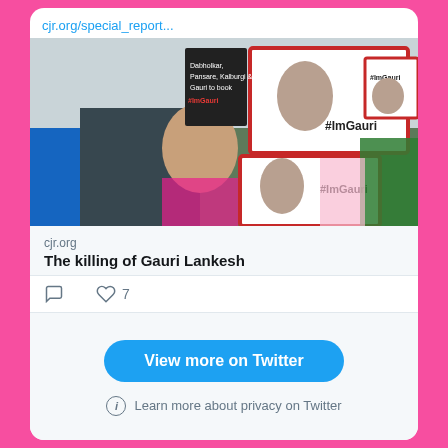cjr.org/special_report...
[Figure (photo): Protesters holding signs with #ImGauri hashtag and a photo of Gauri Lankesh. A young woman in the center holds a sign reading 'Dabholkar, Pansare, Kalburgi & Gauri to book #ImGauri'. Other protesters hold similar signs with her photo.]
cjr.org
The killing of Gauri Lankesh
7
View more on Twitter
Learn more about privacy on Twitter